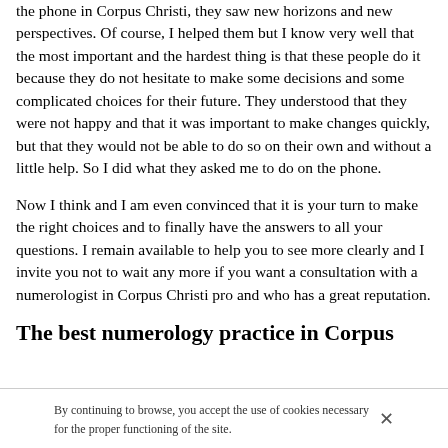the phone in Corpus Christi, they saw new horizons and new perspectives. Of course, I helped them but I know very well that the most important and the hardest thing is that these people do it because they do not hesitate to make some decisions and some complicated choices for their future. They understood that they were not happy and that it was important to make changes quickly, but that they would not be able to do so on their own and without a little help. So I did what they asked me to do on the phone.
Now I think and I am even convinced that it is your turn to make the right choices and to finally have the answers to all your questions. I remain available to help you to see more clearly and I invite you not to wait any more if you want a consultation with a numerologist in Corpus Christi pro and who has a great reputation.
The best numerology practice in Corpus
By continuing to browse, you accept the use of cookies necessary for the proper functioning of the site.